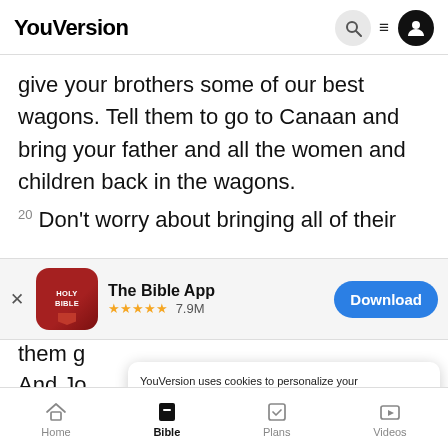YouVersion
give your brothers some of our best wagons. Tell them to go to Canaan and bring your father and all the women and children back in the wagons.
20 Don't worry about bringing all of their
[Figure (screenshot): App store banner for The Bible App showing red Holy Bible icon, 5 stars 7.9M ratings, and a Download button]
them g...
And Jo...
YouVersion uses cookies to personalize your experience. By using our website, you accept our use of cookies as described in our Privacy Policy.
22 He gave each brother a suit of beautiful clothes
Home  Bible  Plans  Videos